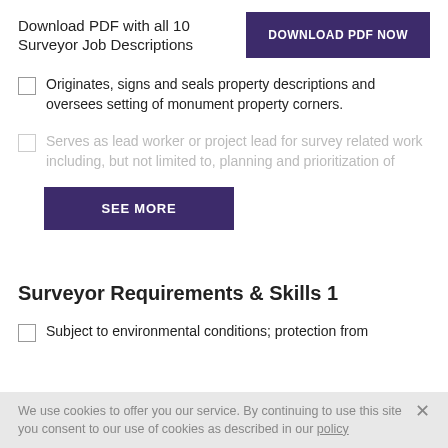Download PDF with all 10 Surveyor Job Descriptions
[Figure (other): Purple 'DOWNLOAD PDF NOW' button]
Originates, signs and seals property descriptions and oversees setting of monument property corners.
Serves as lead worker or project lead for survey related work including, but not limited to, planning and prioritization of...
[Figure (other): Purple 'SEE MORE' button]
Surveyor Requirements & Skills 1
Subject to environmental conditions; protection from
We use cookies to offer you our service. By continuing to use this site you consent to our use of cookies as described in our policy